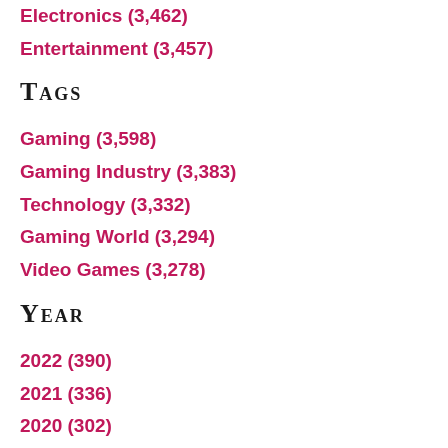Electronics (3,462)
Entertainment (3,457)
Tags
Gaming (3,598)
Gaming Industry (3,383)
Technology (3,332)
Gaming World (3,294)
Video Games (3,278)
Year
2022 (390)
2021 (336)
2020 (302)